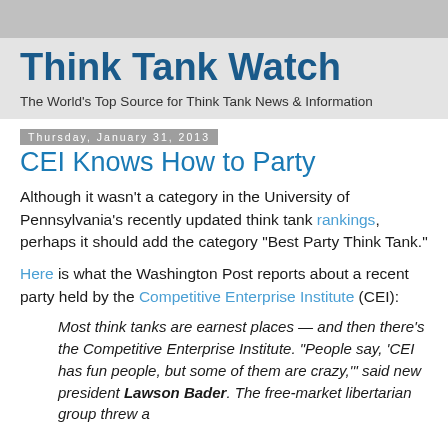Think Tank Watch
The World's Top Source for Think Tank News & Information
Thursday, January 31, 2013
CEI Knows How to Party
Although it wasn't a category in the University of Pennsylvania's recently updated think tank rankings, perhaps it should add the category "Best Party Think Tank."
Here is what the Washington Post reports about a recent party held by the Competitive Enterprise Institute (CEI):
Most think tanks are earnest places — and then there's the Competitive Enterprise Institute. "People say, 'CEI has fun people, but some of them are crazy,'" said new president Lawson Bader. The free-market libertarian group threw a